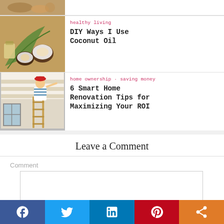[Figure (photo): Partial view of coconut oil jars and coconut flakes on wooden surface (top of page, cropped)]
[Figure (photo): Coconuts and palm leaf on a wooden table for DIY coconut oil article]
healthy living
DIY Ways I Use Coconut Oil
[Figure (photo): Person in red hat painting or renovating ceiling on a ladder indoors]
home ownership · saving money
6 Smart Home Renovation Tips for Maximizing Your ROI
Leave a Comment
Comment
Social share bar: Facebook, Twitter, LinkedIn, Pinterest, Share